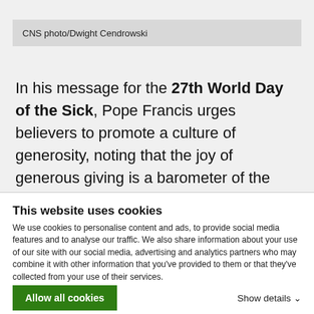CNS photo/Dwight Cendrowski
In his message for the 27th World Day of the Sick, Pope Francis urges believers to promote a culture of generosity, noting that the joy of generous giving is a barometer of the health of a Christian. Pope Francis says that those who care
This website uses cookies
We use cookies to personalise content and ads, to provide social media features and to analyse our traffic. We also share information about your use of our site with our social media, advertising and analytics partners who may combine it with other information that you've provided to them or that they've collected from your use of their services.
Allow all cookies
Show details